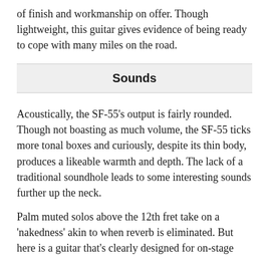of finish and workmanship on offer. Though lightweight, this guitar gives evidence of being ready to cope with many miles on the road.
Sounds
Acoustically, the SF-55's output is fairly rounded. Though not boasting as much volume, the SF-55 ticks more tonal boxes and curiously, despite its thin body, produces a likeable warmth and depth. The lack of a traditional soundhole leads to some interesting sounds further up the neck.
Palm muted solos above the 12th fret take on a 'nakedness' akin to when reverb is eliminated. But here is a guitar that's clearly designed for on-stage